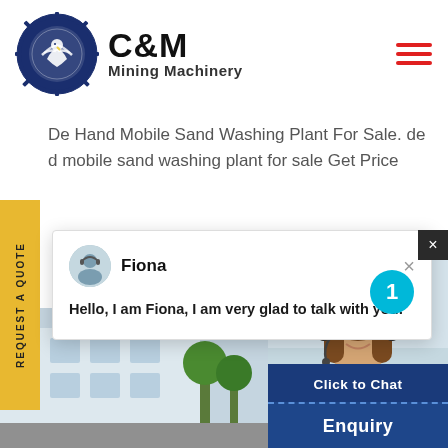[Figure (logo): C&M Mining Machinery logo with eagle in gear circle, navy blue]
C&M Mining Machinery
De Hand Mobile Sand Washing Plant For Sale. de d mobile sand washing plant for sale Get Price
REQUEST A QUOTE
[Figure (screenshot): Live chat popup with avatar of Fiona, text: Hello, I am Fiona, I am very glad to talk with you!]
erscreen? 4 Aggwash is a new nt that brings together for the f eening scrubbing and sand was
[Figure (photo): Customer service woman with headset smiling, Click to Chat button, Enquiry button, building exterior photo at bottom left]